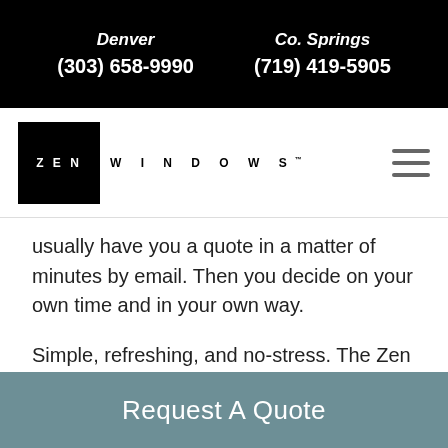Denver (303) 658-9990   Co. Springs (719) 419-5905
[Figure (logo): Zen Windows logo — black square with 'ZEN' in white letters, followed by 'WINDOWS' in spaced letters]
usually have you a quote in a matter of minutes by email. Then you decide on your own time and in your own way.
Simple, refreshing, and no-stress. The Zen Way – Denver's Best Window Replacement Experience.
Request A Quote